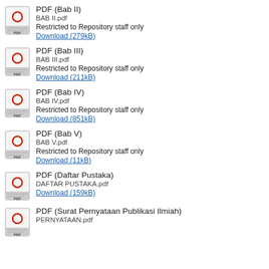PDF (Bab II)
BAB II.pdf
Restricted to Repository staff only
Download (279kB)
PDF (Bab III)
BAB III.pdf
Restricted to Repository staff only
Download (211kB)
PDF (Bab IV)
BAB IV.pdf
Restricted to Repository staff only
Download (851kB)
PDF (Bab V)
BAB V.pdf
Restricted to Repository staff only
Download (11kB)
PDF (Daftar Pustaka)
DAFTAR PUSTAKA.pdf
Download (159kB)
PDF (Surat Pernyataan Publikasi Ilmiah)
PERNYATAAN.pdf